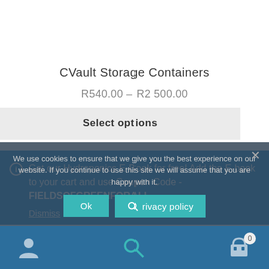CVault Storage Containers
R540.00 – R2 500.00
Select options
Get our Hydroponics E-Book for free! Add the E-book to your cart and use Coupon Code - FIELDSOFGREENFORALL
Dismiss
We use cookies to ensure that we give you the best experience on our website. If you continue to use this site we will assume that you are happy with it.
Ok
Privacy policy